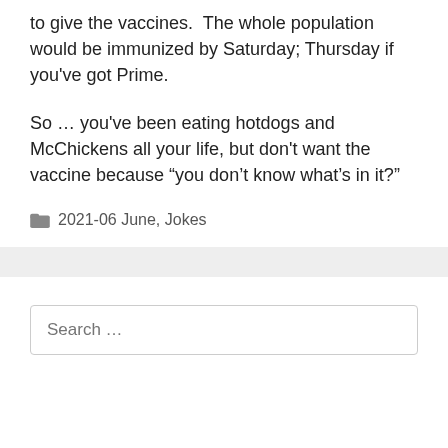to give the vaccines.  The whole population would be immunized by Saturday; Thursday if you've got Prime.
So … you've been eating hotdogs and McChickens all your life, but don't want the vaccine because “you don't know what’s in it?”
2021-06 June, Jokes
Search …